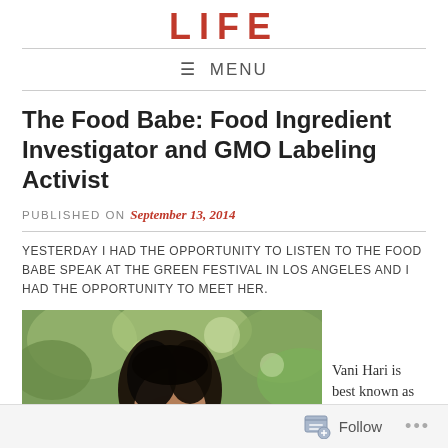LIFE
≡ MENU
The Food Babe: Food Ingredient Investigator and GMO Labeling Activist
PUBLISHED ON September 13, 2014
YESTERDAY I HAD THE OPPORTUNITY TO LISTEN TO THE FOOD BABE SPEAK AT THE GREEN FESTIVAL IN LOS ANGELES AND I HAD THE OPPORTUNITY TO MEET HER.
[Figure (photo): Portrait photo of a woman with dark hair against a green leafy background]
Vani Hari is best known as
Follow